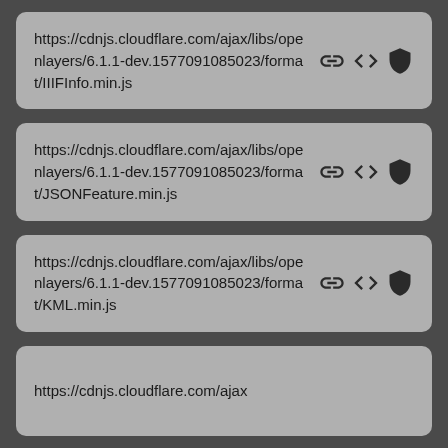https://cdnjs.cloudflare.com/ajax/libs/openlayers/6.1.1-dev.1577091085023/format/IIIFInfo.min.js
https://cdnjs.cloudflare.com/ajax/libs/openlayers/6.1.1-dev.1577091085023/format/JSONFeature.min.js
https://cdnjs.cloudflare.com/ajax/libs/openlayers/6.1.1-dev.1577091085023/format/KML.min.js
https://cdnjs.cloudflare.com/ajax